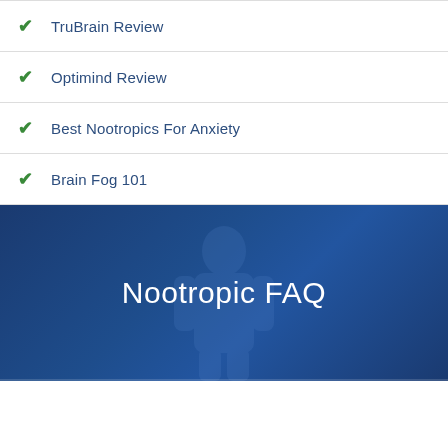TruBrain Review
Optimind Review
Best Nootropics For Anxiety
Brain Fog 101
Nootropic FAQ